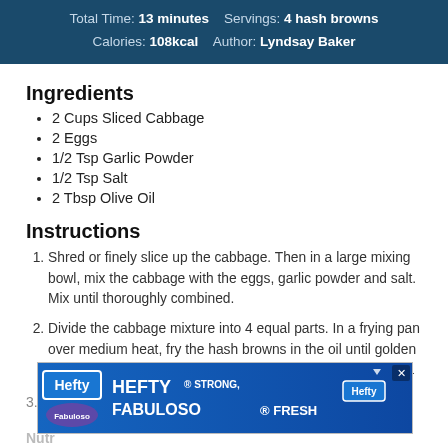Total Time: 13 minutes   Servings: 4 hash browns
Calories: 108kcal   Author: Lyndsay Baker
Ingredients
2 Cups Sliced Cabbage
2 Eggs
1/2 Tsp Garlic Powder
1/2 Tsp Salt
2 Tbsp Olive Oil
Instructions
Shred or finely slice up the cabbage. Then in a large mixing bowl, mix the cabbage with the eggs, garlic powder and salt. Mix until thoroughly combined.
Divide the cabbage mixture into 4 equal parts. In a frying pan over medium heat, fry the hash browns in the oil until golden brown and tender, around 4 minutes per side. Use a spatula to gently press the hash browns into a tight disk shape.
[Figure (other): Hefty brand advertisement banner: HEFTY STRONG, FABULOSO FRESH]